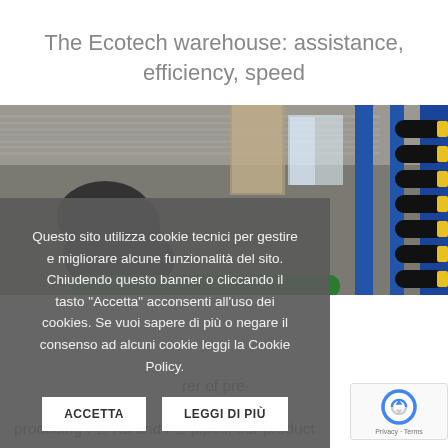The Ecotech warehouse: assistance, efficiency, speed
[Figure (photo): Interior of the Ecotech warehouse showing industrial pipes and blue metal shelving racks]
Questo sito utilizza cookie tecnici per gestire e migliorare alcune funzionalità del sito. Chiudendo questo banner o cliccando il tasto "Accetta" acconsenti all'uso dei cookies. Se vuoi sapere di più o negare il consenso ad alcuni cookie leggi la Cookie Policy.
ACCETTA
LEGGI DI PIÙ
rer of pre-
on to
producing PE-Xa and PE pipes, our product